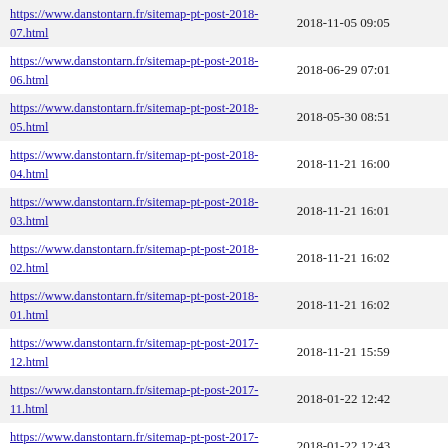| URL | Last Modified |
| --- | --- |
| https://www.danstontarn.fr/sitemap-pt-post-2018-07.html | 2018-11-05 09:05 |
| https://www.danstontarn.fr/sitemap-pt-post-2018-06.html | 2018-06-29 07:01 |
| https://www.danstontarn.fr/sitemap-pt-post-2018-05.html | 2018-05-30 08:51 |
| https://www.danstontarn.fr/sitemap-pt-post-2018-04.html | 2018-11-21 16:00 |
| https://www.danstontarn.fr/sitemap-pt-post-2018-03.html | 2018-11-21 16:01 |
| https://www.danstontarn.fr/sitemap-pt-post-2018-02.html | 2018-11-21 16:02 |
| https://www.danstontarn.fr/sitemap-pt-post-2018-01.html | 2018-11-21 16:02 |
| https://www.danstontarn.fr/sitemap-pt-post-2017-12.html | 2018-11-21 15:59 |
| https://www.danstontarn.fr/sitemap-pt-post-2017-11.html | 2018-01-22 12:42 |
| https://www.danstontarn.fr/sitemap-pt-post-2017-05.html | 2018-01-22 12:43 |
| https://www.danstontarn.fr/sitemap-pt-post-2017-04.html | 2018-01-22 12:43 |
| https://www.danstontarn.fr/sitemap-pt-post-2017-03.html | 2018-11-21 15:59 |
| https://www.danstontarn.fr/sitemap-pt-post-2017-02.html | 2018-01-22 12:45 |
| https://www.danstontarn.fr/sitemap-pt-post-2017-01.html | 2018-01-21 23:04 |
| https://www.danstontarn.fr/sitemap-pt-post-2016-12.html | 2018-01-21 23:04 |
| https://www.danstontarn.fr/sitemap-pt-post-2016-11.html | 2019-02-01 10:11 |
| https://www.danstontarn.fr/sitemap-pt-post-2016-10.html | 2018-11-05 09:50 |
| https://www.danstontarn.fr/sitemap-pt-post-2016-07.html | 2016-07-22 12:42 |
| https://www.danstontarn.fr/sitemap-pt-post-2016-06.html | 2018-11-05 09:50 |